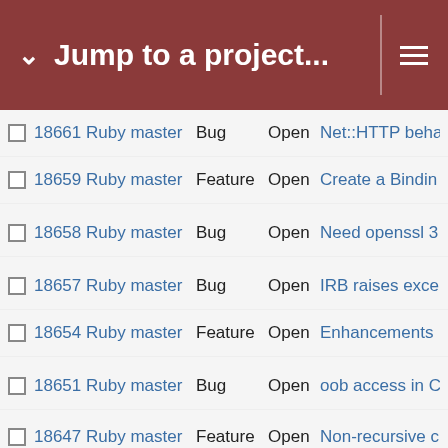Jump to a project...
|  | # | Project | Tracker | Status | Subject |
| --- | --- | --- | --- | --- | --- |
|  | 18661 | Ruby master | Bug | Open | Net::HTTP beha... |
|  | 18659 | Ruby master | Feature | Open | Create a Bindin... |
|  | 18658 | Ruby master | Bug | Open | Need openssl 3... |
|  | 18657 | Ruby master | Bug | Open | IRB raises exce... |
|  | 18654 | Ruby master | Feature | Open | Enhancements... |
|  | 18651 | Ruby master | Bug | Open | oob access in C... |
|  | 18647 | Ruby master | Feature | Open | Non-recursive c... |
|  | 18644 | Ruby master | Feature | Open | Coerce anythin... |
|  | 18642 | Ruby master | Feature | Open | Named ripper fi... |
|  | 18640 | Ruby master | Feature | Open | default empty s... |
|  | 18639 | Ruby master | Feature | Open | Update Unicode... |
|  | 18630 | Ruby master | Feature | Open | Introduce gene... |
|  | 18623 | Ruby master | Bug | Open | `make runnable... |